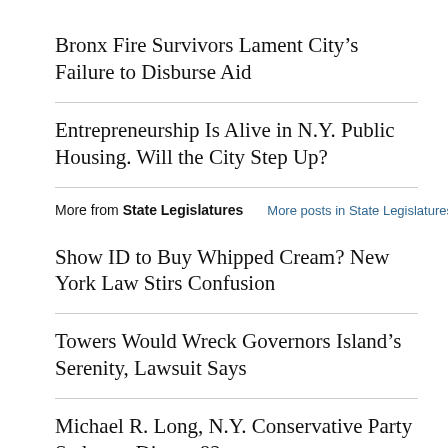Bronx Fire Survivors Lament City's Failure to Disburse Aid
Entrepreneurship Is Alive in N.Y. Public Housing. Will the City Step Up?
More from State Legislatures    More posts in State Legislatures »
Show ID to Buy Whipped Cream? New York Law Stirs Confusion
Towers Would Wreck Governors Island's Serenity, Lawsuit Says
Michael R. Long, N.Y. Conservative Party Stalwart, Dies at 82